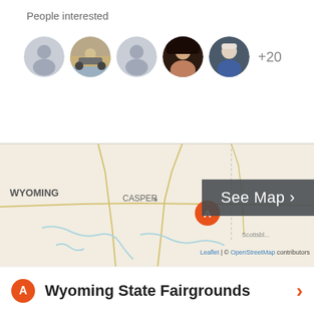People interested
[Figure (illustration): Five circular avatar profile photos of people interested, followed by '+20' text. Avatars include two grey placeholder silhouettes, a person on an ATV in desert, a woman with dark hair, and an older man.]
[Figure (map): OpenStreetMap map showing Wyoming state, with CASPER label visible on left and a location marker 'A' (orange circle) placed near center-right. State boundary lines and roads visible. 'WYOMING' label on left side. Scottsbluff partially visible bottom right.]
Leaflet | © OpenStreetMap contributors
Wyoming State Fairgrounds